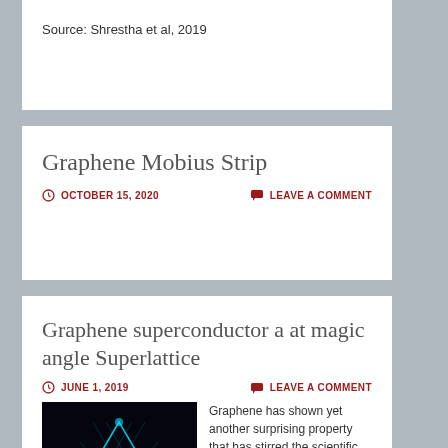Source: Shrestha et al, 2019
Graphene Mobius Strip
OCTOBER 15, 2020   LEAVE A COMMENT
Graphene superconductor a at magic angle Superlattice
JUNE 1, 2019   LEAVE A COMMENT
[Figure (photo): Dark image of a graphene superlattice structure with glowing blue/cyan hexagonal grid pattern forming a triangular shape inside a circular arc]
Graphene has shown yet another surprising property that has stirred the scientific community in a vibrant search to explain and